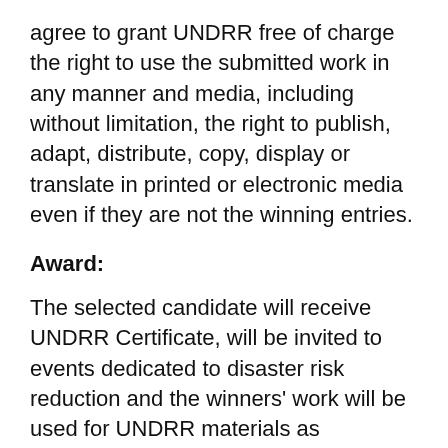agree to grant UNDRR free of charge the right to use the submitted work in any manner and media, including without limitation, the right to publish, adapt, distribute, copy, display or translate in printed or electronic media even if they are not the winning entries.
Award:
The selected candidate will receive UNDRR Certificate, will be invited to events dedicated to disaster risk reduction and the winners' work will be used for UNDRR materials as mentioned above.
For more information, please contact:
Ms. Samal Bekmaganbetova, National Technical Officer samal.bekmaganbetova@un.org, tel: (993-12)